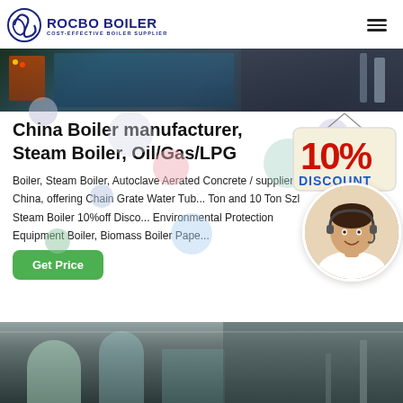[Figure (logo): Rocbo Boiler logo with crescent/globe icon and text 'ROCBO BOILER - COST-EFFECTIVE BOILER SUPPLIER']
[Figure (photo): Industrial boiler machinery photo at top of page]
China Boiler manufacturer, Steam Boiler, Oil/Gas/LPG
Boiler, Steam Boiler, Autoclave Aerated Concrete / supplier in China, offering Chain Grate Water Tub... Ton and 10 Ton Szl Steam Boiler 10%off Disco... Environmental Protection Equipment Boiler, Biomass Boiler Pape...
[Figure (infographic): 10% DISCOUNT badge/label graphic]
[Figure (photo): Customer service representative with headset, circular cropped photo]
[Figure (photo): Industrial facility/factory interior photo at bottom of page]